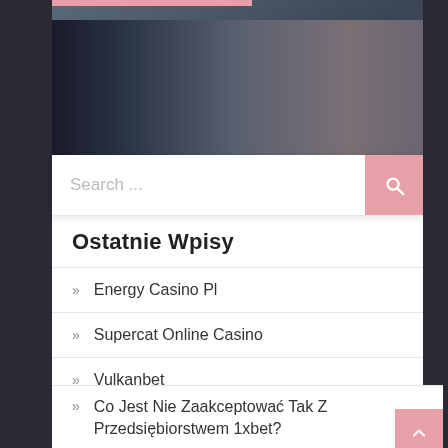[Figure (photo): Website screenshot showing a search bar and sidebar navigation with recent posts list. Background shows a blurred photo of a person with a camera in a studio setting.]
Search ...
Ostatnie Wpisy
» Energy Casino Pl
» Supercat Online Casino
» Vulkanbet
» Co Jest Nie Zaakceptować Tak Z Przedsiębiorstwem 1xbet?